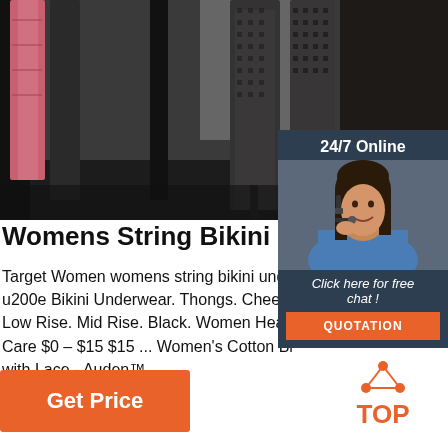[Figure (photo): Photo of a clothing store rack with patterned hanging garments on a dark floor background]
[Figure (infographic): 24/7 Online customer support panel with a woman wearing a headset, a 'Click here for free chat!' message, and an orange QUOTATION button]
Womens String Bikini Underwear
Target Women womens string bikini unde u200e Bikini Underwear. Thongs. Cheeky. Low Rise. Mid Rise. Black. Women Health Care $0 – $15 $15 ... Women's Cotton Bi with Lace - Auden™ ...
[Figure (logo): Orange TOP logo with dot triangle above the word TOP]
Get Price